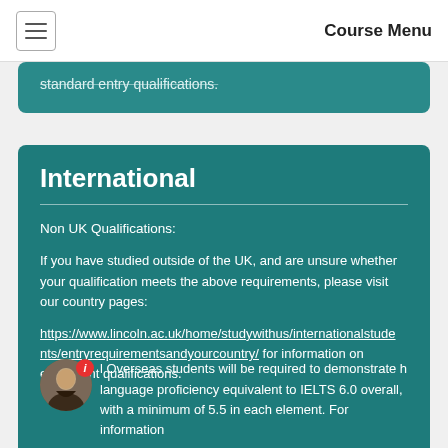Course Menu
standard entry qualifications.
International
Non UK Qualifications:
If you have studied outside of the UK, and are unsure whether your qualification meets the above requirements, please visit our country pages:
https://www.lincoln.ac.uk/home/studywithus/internationalstudents/entryrequirementsandyourcountry/ for information on equivalent qualifications.
All Overseas students will be required to demonstrate a language proficiency equivalent to IELTS 6.0 overall, with a minimum of 5.5 in each element. For information